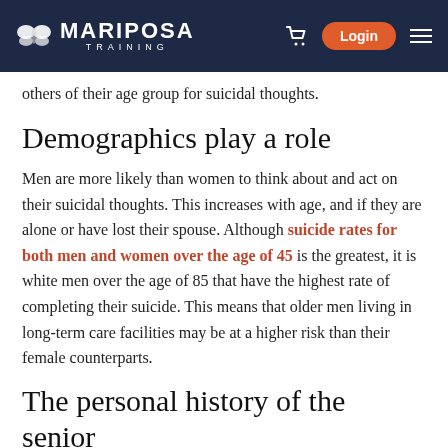MARIPOSA TRAINING — navigation bar with logo, cart, Login button, hamburger menu
others of their age group for suicidal thoughts.
Demographics play a role
Men are more likely than women to think about and act on their suicidal thoughts. This increases with age, and if they are alone or have lost their spouse. Although suicide rates for both men and women over the age of 45 is the greatest, it is white men over the age of 85 that have the highest rate of completing their suicide. This means that older men living in long-term care facilities may be at a higher risk than their female counterparts.
The personal history of the senior
In determining the risk of suicide, it's also important to